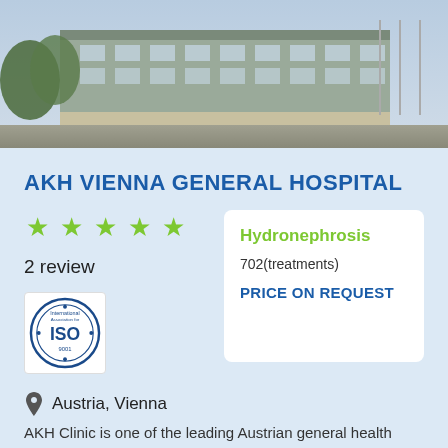[Figure (photo): Exterior photo of AKH Vienna General Hospital building with trees and sky]
AKH VIENNA GENERAL HOSPITAL
[Figure (other): Five green star rating icons]
2 review
[Figure (logo): ISO 9001 certification badge]
Hydronephrosis
702(treatments)
PRICE ON REQUEST
Austria, Vienna
AKH Clinic is one of the leading Austrian general health